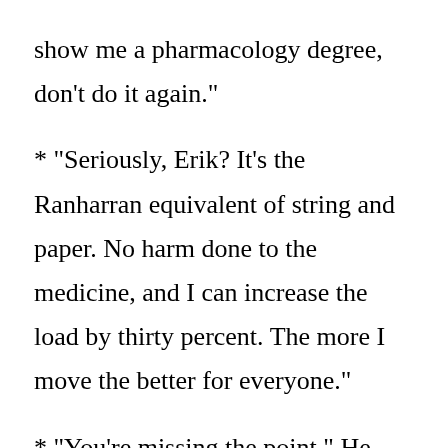show me a pharmacology degree, don’t do it again.”
* “Seriously, Erik? It’s the Ranharran equivalent of string and paper. No harm done to the medicine, and I can increase the load by thirty percent. The more I move the better for everyone.”
* “You’re missing the point.” He enunciated each word like it hurt to say. “The meds are